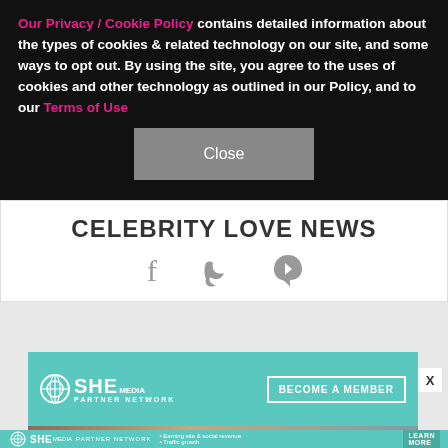Our Privacy / Cookie Policy contains detailed information about the types of cookies & related technology on our site, and some ways to opt out. By using the site, you agree to the uses of cookies and other technology as outlined in our Policy, and to our Terms of Use
Close
CELEBRITY LOVE NEWS
[Figure (illustration): Social media icons: Facebook (f), Twitter (bird), Pinterest (P) in gray]
[Figure (infographic): SHE Media Partner Network ad banner with teal background, logo and BECOME A MEMBER button]
[Figure (photo): Woman with glasses and curly hair smiling, looking at laptop in a cafe setting]
[Figure (infographic): Bottom ad strip: SHE Media Partner Network, Earning site & social revenue, Traffic growth, LEARN MORE button]